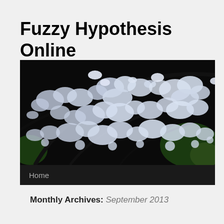Fuzzy Hypothesis Online
[Figure (photo): Banner photo of white cherry blossoms against dark branches and green leaves]
Home
Monthly Archives: September 2013